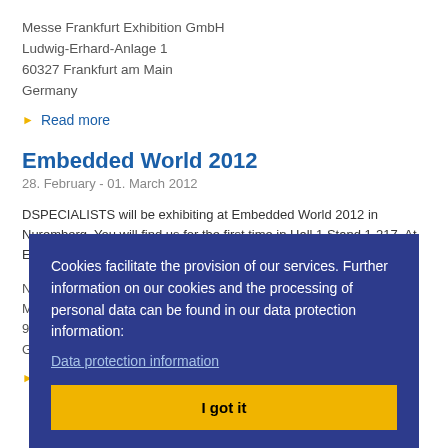Messe Frankfurt Exhibition GmbH
Ludwig-Erhard-Anlage 1
60327 Frankfurt am Main
Germany
Read more
Embedded World 2012
28. February - 01. March 2012
DSPECIALISTS will be exhibiting at Embedded World 2012 in Nuremberg. You will find us for the first time in Hall 1 Stand 1-217. At Embedded World, DSPECIALISTS will be presenting many new products and solutions including admission vouchers. We are looking forward to seeing you with us!
NürnbergMesse GmbH
Messezentrum
90471 Nuremberg
Germany
Read more
Cookies facilitate the provision of our services. Further information on our cookies and the processing of personal data can be found in our data protection information:
Data protection information
I got it